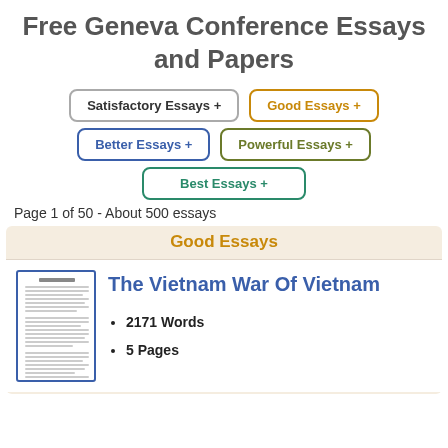Free Geneva Conference Essays and Papers
Satisfactory Essays +
Good Essays +
Better Essays +
Powerful Essays +
Best Essays +
Page 1 of 50 - About 500 essays
Good Essays
The Vietnam War Of Vietnam
2171 Words
5 Pages